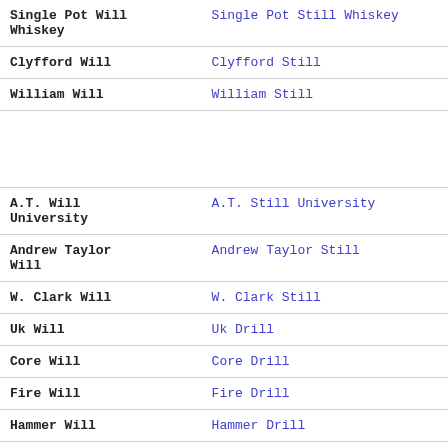| Will | Still/Drill |
| --- | --- |
| Single Pot Will Whiskey | Single Pot Still Whiskey |
| Clyfford Will | Clyfford Still |
| William Will | William Still |
|  |  |
| A.T. Will University | A.T. Still University |
| Andrew Taylor Will | Andrew Taylor Still |
| W. Clark Will | W. Clark Still |
| Uk Will | Uk Drill |
| Core Will | Core Drill |
| Fire Will | Fire Drill |
| Hammer Will | Hammer Drill |